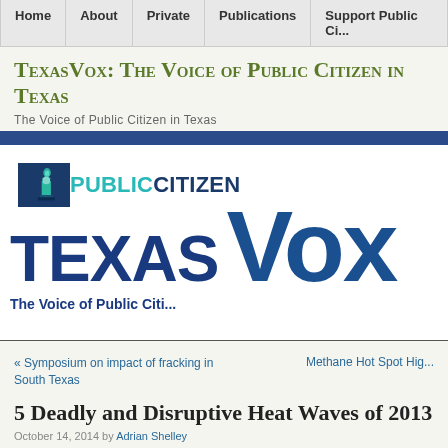Home | About | Private | Publications | Support Public Ci...
TexasVox: The Voice of Public Citizen in Texas
The Voice of Public Citizen in Texas
[Figure (logo): Public Citizen and Texas Vox logo. Shows Public Citizen logo with Statue of Liberty icon, and TEXAS VOX in large bold blue letters with tagline 'The Voice of Public Citi...']
« Symposium on impact of fracking in South Texas
Methane Hot Spot Hig...
5 Deadly and Disruptive Heat Waves of 2013
October 14, 2014 by Adrian Shelley